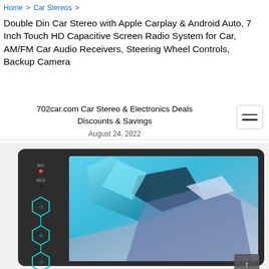Home > Car Stereos >
Double Din Car Stereo with Apple Carplay & Android Auto, 7 Inch Touch HD Capacitive Screen Radio System for Car, AM/FM Car Audio Receivers, Steering Wheel Controls, Backup Camera
702car.com Car Stereo & Electronics Deals
Discounts & Savings
August 24, 2022
[Figure (photo): Double Din car stereo unit showing a 7-inch touchscreen display with a blue and grey abstract wallpaper, teal hexagonal control buttons on the left side panel, MIC and RES labels, and AUX port at the bottom. The device has a dark/black bezel.]